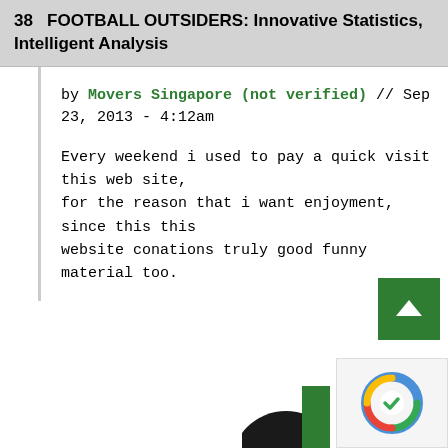38   FOOTBALL OUTSIDERS: Innovative Statistics, Intelligent Analysis
by Movers Singapore (not verified) // Sep 23, 2013 - 4:12am
Every weekend i used to pay a quick visit this web site,
for the reason that i want enjoyment, since this this
website conations truly good funny material too.